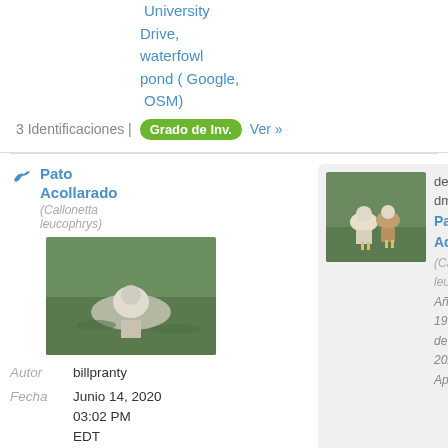University Drive, waterfowl pond (Google, OSM)
3 Identificaciones | Grado de Inv. Ver »
Pato Acollarado (Callonetta leucophrys)
[Figure (photo): Duck swimming on water]
Autor billpranty Fecha Junio 14, 2020 03:02 PM EDT
Lugar Florida, Broward, Tamarac, Commercial Boulevard and University
[Figure (photo): Two ducks standing near water]
de dmfraser: Pato Acollarado (Callonetta leucophrys) Añadido el 19 de julio de 2022 Apoyo a